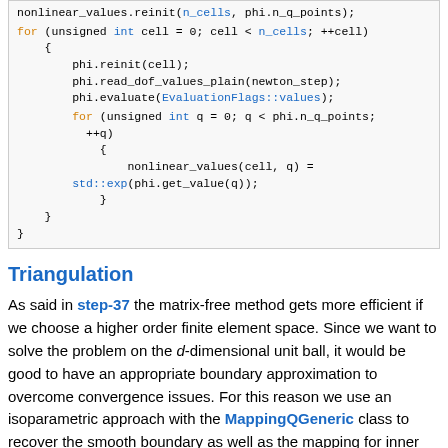[Figure (screenshot): Code block showing C++ code with for loops, phi.reinit, phi.read_dof_values_plain, phi.evaluate, nonlinear_values assignment using std::exp]
Triangulation
As said in step-37 the matrix-free method gets more efficient if we choose a higher order finite element space. Since we want to solve the problem on the d-dimensional unit ball, it would be good to have an appropriate boundary approximation to overcome convergence issues. For this reason we use an isoparametric approach with the MappingQGeneric class to recover the smooth boundary as well as the mapping for inner cells. In addition, to get a good triangulation in total we make use of the TransfiniteInterpolationManifold.